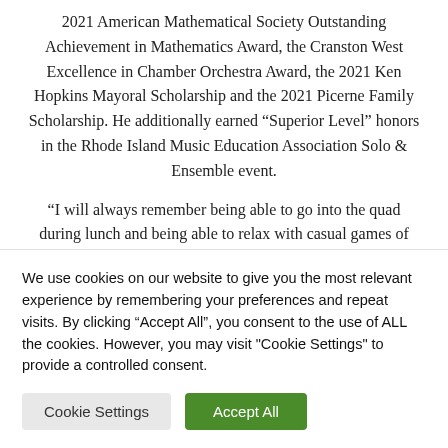2021 American Mathematical Society Outstanding Achievement in Mathematics Award, the Cranston West Excellence in Chamber Orchestra Award, the 2021 Ken Hopkins Mayoral Scholarship and the 2021 Picerne Family Scholarship. He additionally earned “Superior Level” honors in the Rhode Island Music Education Association Solo & Ensemble event.
“I will always remember being able to go into the quad during lunch and being able to relax with casual games of hacky sack and badminton,” Feliz said. “I
We use cookies on our website to give you the most relevant experience by remembering your preferences and repeat visits. By clicking “Accept All”, you consent to the use of ALL the cookies. However, you may visit "Cookie Settings" to provide a controlled consent.